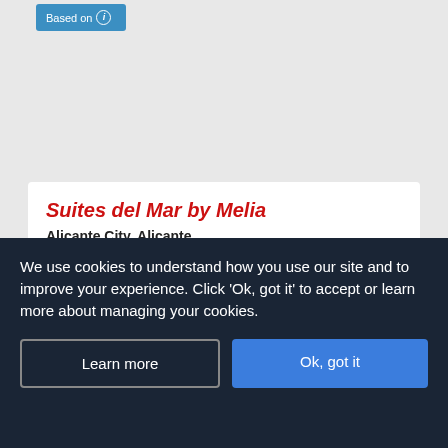[Figure (screenshot): Blue 'Based on' button with info icon in top-left area]
Suites del Mar by Melia
Alicante City, Alicante
★★★★ PLUS
Our rating    Based on 1821 reviews
0.2 Km to Museo Volvo Ocean Race
We use cookies to understand how you use our site and to improve your experience. Click 'Ok, got it' to accept or learn more about managing your cookies.
Learn more
Ok, got it